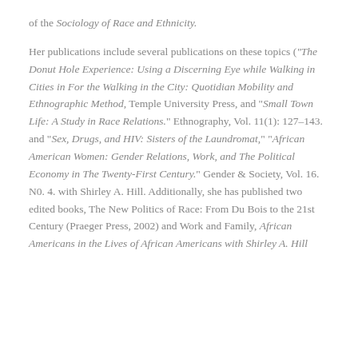of the Sociology of Race and Ethnicity.
Her publications include several publications on these topics ("The Donut Hole Experience: Using a Discerning Eye while Walking in Cities in For the Walking in the City: Quotidian Mobility and Ethnographic Method, Temple University Press, and "Small Town Life: A Study in Race Relations." Ethnography, Vol. 11(1): 127–143. and "Sex, Drugs, and HIV: Sisters of the Laundromat," "African American Women: Gender Relations, Work, and The Political Economy in The Twenty-First Century." Gender & Society, Vol. 16. N0. 4. with Shirley A. Hill. Additionally, she has published two edited books, The New Politics of Race: From Du Bois to the 21st Century (Praeger Press, 2002) and Work and Family, African Americans in the Lives of African Americans with Shirley A. Hill